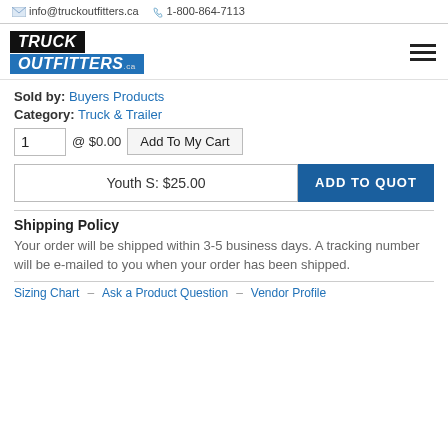info@truckoutfitters.ca  1-800-864-7113
[Figure (logo): Truck Outfitters .ca logo with black background for TRUCK and blue background for OUTFITTERS]
Sold by: Buyers Products
Category: Truck & Trailer
1  @ $0.00  Add To My Cart
Youth S: $25.00   ADD TO QUOT
Shipping Policy
Your order will be shipped within 3-5 business days. A tracking number will be e-mailed to you when your order has been shipped.
Sizing Chart   Ask a Product Question   Vendor Profile